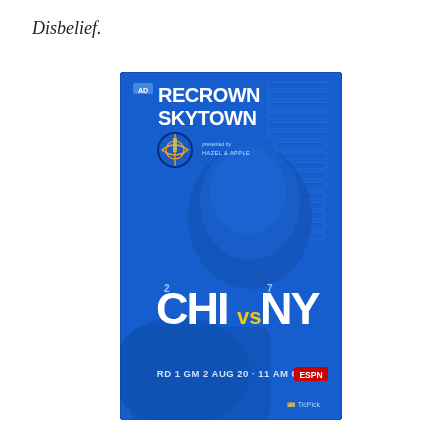Disbelief.
[Figure (illustration): WNBA Chicago Sky vs New York Liberty playoff game poster. Blue background with a basketball player's face. Text reads: AD RECROWN SKYTOWN, CHI 2 vs NY 7, RD 1 GM 2 AUG 20 · 11 AM CT ESPN, TicPick logo. Chicago Sky team logo visible.]